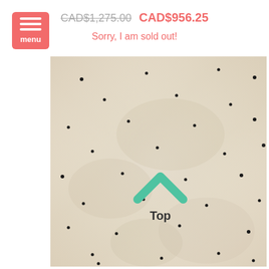[Figure (other): Red/coral hamburger menu button with three white bars and 'menu' label]
CAD$1,275.00  CAD$956.25
Sorry, I am sold out!
[Figure (photo): Close-up photo of a white fluffy rug with small black dots/knots scattered across it. A teal/green chevron upward arrow and the word 'Top' in bold are overlaid on the image.]